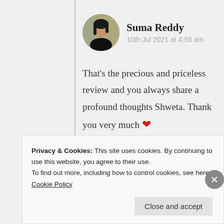[Figure (photo): Circular avatar photo of Suma Reddy, a woman with dark hair against a blurred background]
Suma Reddy
10th Jul 2021 at 4:56 am
That's the precious and priceless review and you always share a profound thoughts Shweta. Thank you very much ❤
★ Like
Privacy & Cookies: This site uses cookies. By continuing to use this website, you agree to their use.
To find out more, including how to control cookies, see here: Cookie Policy
Close and accept